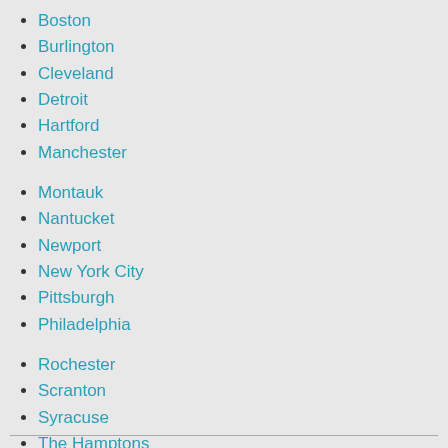Boston
Burlington
Cleveland
Detroit
Hartford
Manchester
Montauk
Nantucket
Newport
New York City
Pittsburgh
Philadelphia
Rochester
Scranton
Syracuse
The Hamptons
Toronto
White Plains